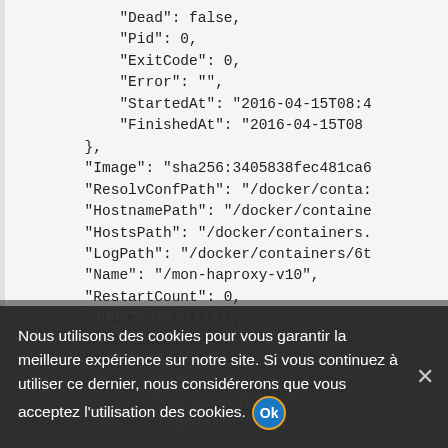"Dead": false,
            "Pid": 0,
            "ExitCode": 0,
            "Error": "",
            "StartedAt": "2016-04-15T08:4
            "FinishedAt": "2016-04-15T08
        },
        "Image": "sha256:3405838fec481ca6
        "ResolvConfPath": "/docker/conta:
        "HostnamePath": "/docker/containe
        "HostsPath": "/docker/containers.
        "LogPath": "/docker/containers/6t
        "Name": "/mon-haproxy-v10",
        "RestartCount": 0,
        "Driver": "btrfs",
        "MountLabel": "",
        "ProcessLabel": "",
"AppArmorProfile": "",
            "ExecIDs": null,
            "HostConfig": {
                "Binds": null,
                "ContainerIDFile": "",
                "LogConfig": {
Nous utilisons des cookies pour vous garantir la meilleure expérience sur notre site. Si vous continuez à utiliser ce dernier, nous considérerons que vous acceptez l'utilisation des cookies.